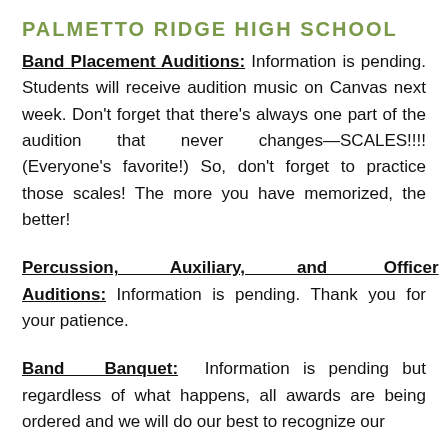PALMETTO RIDGE HIGH SCHOOL
Band Placement Auditions: Information is pending. Students will receive audition music on Canvas next week. Don't forget that there's always one part of the audition that never changes—SCALES!!!! (Everyone's favorite!) So, don't forget to practice those scales! The more you have memorized, the better!
Percussion, Auxiliary, and Officer Auditions: Information is pending. Thank you for your patience.
Band Banquet: Information is pending but regardless of what happens, all awards are being ordered and we will do our best to recognize our